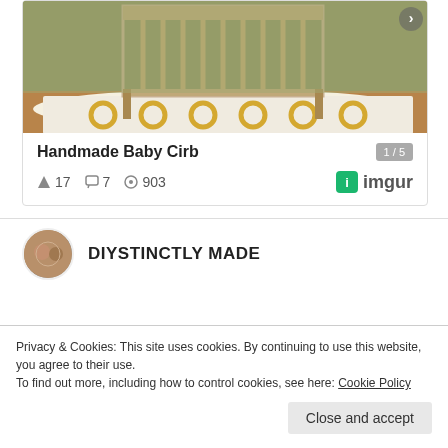[Figure (photo): Photo of a handmade wooden baby crib on a yellow and white patterned rug, with white walls in background]
Handmade Baby Cirb
1 / 5
17  7  903  imgur
[Figure (photo): Circular avatar photo of a couple]
DIYSTINCTLY MADE
Privacy & Cookies: This site uses cookies. By continuing to use this website, you agree to their use.
To find out more, including how to control cookies, see here: Cookie Policy
Close and accept